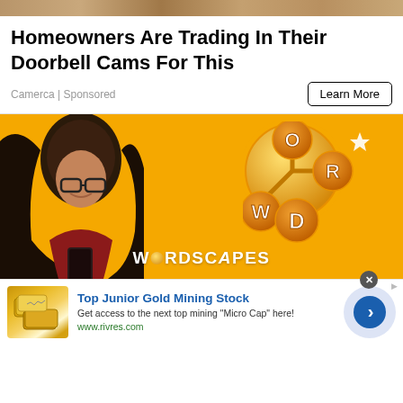[Figure (photo): Top strip showing a blurred outdoor/home image banner]
Homeowners Are Trading In Their Doorbell Cams For This
Camerca | Sponsored
Learn More
[Figure (photo): Wordscapes game advertisement showing a woman with glasses looking at her phone on a yellow/orange background with the Wordscapes game logo (letters W, O, R, D in connected circles) and the brand name WORDSCAPES at the bottom]
[Figure (photo): Banner advertisement for Top Junior Gold Mining Stock showing gold bars image on the left, text in the middle, and a blue arrow button on the right with a lavender circle background. Source: www.rivres.com]
Top Junior Gold Mining Stock
Get access to the next top mining "Micro Cap" here!
www.rivres.com